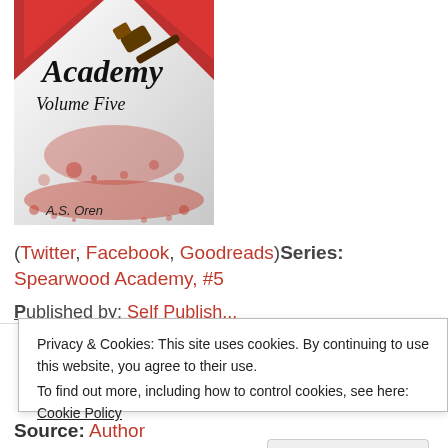[Figure (illustration): Book cover for 'Academy Volume Five' by A.S. Oren. White/grey background with red splatter/blood effects, red bat wings at top, a gavel in the upper right area, cursive title text 'Academy Volume Five', and author name at bottom left.]
(Twitter, Facebook, Goodreads) Series: Spearwood Academy, #5
Published...
Privacy & Cookies: This site uses cookies. By continuing to use this website, you agree to their use.
To find out more, including how to control cookies, see here: Cookie Policy
Close and accept
Source: Author